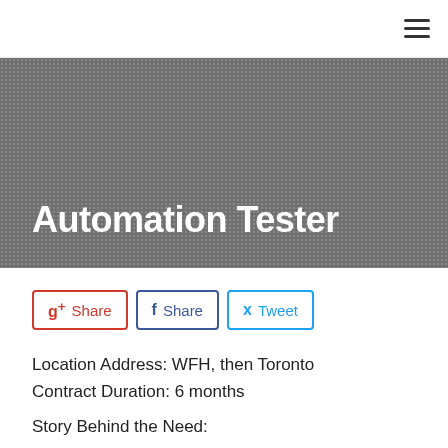☰
Automation Tester
[Figure (other): Social sharing buttons: Google+ Share, Facebook Share, Twitter Tweet]
Location Address: WFH, then Toronto
Contract Duration: 6 months
Story Behind the Need:
Project: Modernization of the old system with new